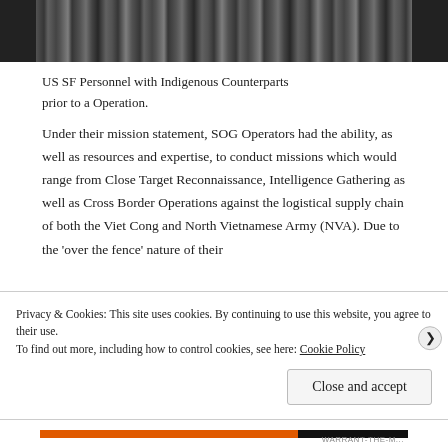[Figure (photo): Black and white photograph of US SF Personnel with Indigenous Counterparts prior to an Operation.]
US SF Personnel with Indigenous Counterparts prior to a Operation.
Under their mission statement, SOG Operators had the ability, as well as resources and expertise, to conduct missions which would range from Close Target Reconnaissance, Intelligence Gathering as well as Cross Border Operations against the logistical supply chain of both the Viet Cong and North Vietnamese Army (NVA). Due to the 'over the fence' nature of their
Privacy & Cookies: This site uses cookies. By continuing to use this website, you agree to their use.
To find out more, including how to control cookies, see here: Cookie Policy